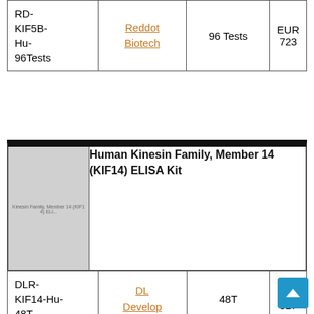| Product Code | Supplier | Pack Size | Price |
| --- | --- | --- | --- |
| RD-KIF5B-Hu-96Tests | Reddot Biotech | 96 Tests | EUR 723 |
[Figure (photo): Product image placeholder for Human Kinesin Family, Member 14 (KIF14) ELISA Kit, showing a gray placeholder with faint text 'Kinesin Family, Member 14 (KIF14) ELI']
Human Kinesin Family, Member 14 (KIF14) ELISA Kit
| Product Code | Supplier | Pack Size | Price |
| --- | --- | --- | --- |
| DLR-KIF14-Hu-48T | DL Develop | 48T | EUR 517 |